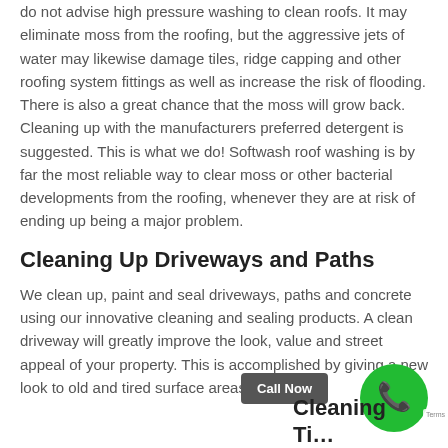do not advise high pressure washing to clean roofs. It may eliminate moss from the roofing, but the aggressive jets of water may likewise damage tiles, ridge capping and other roofing system fittings as well as increase the risk of flooding. There is also a great chance that the moss will grow back. Cleaning up with the manufacturers preferred detergent is suggested. This is what we do! Softwash roof washing is by far the most reliable way to clear moss or other bacterial developments from the roofing, whenever they are at risk of ending up being a major problem.
Cleaning Up Driveways and Paths
We clean up, paint and seal driveways, paths and concrete using our innovative cleaning and sealing products. A clean driveway will greatly improve the look, value and street appeal of your property. This is accomplished by giving a new look to old and tired surface areas.
Cleaning Ti…